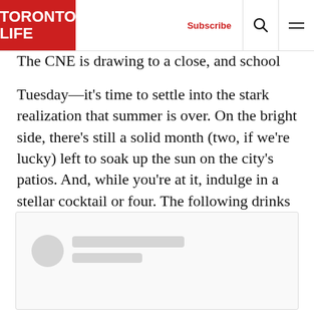Toronto Life — Subscribe
The CNE is drawing to a close, and school starts on Tuesday—it's time to settle into the stark realization that summer is over. On the bright side, there's still a solid month (two, if we're lucky) left to soak up the sun on the city's patios. And, while you're at it, indulge in a stellar cocktail or four. The following drinks best encapsulate the spirit of summer, from bright and bubbly to tropical and transportive.
[Figure (other): Social media embed loading placeholder with avatar circle and two gray loading bars]